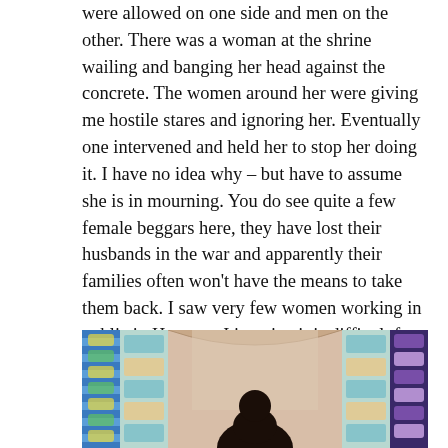were allowed on one side and men on the other. There was a woman at the shrine wailing and banging her head against the concrete. The women around her were giving me hostile stares and ignoring her. Eventually one intervened and held her to stop her doing it. I have no idea why – but have to assume she is in mourning. You do see quite a few female beggars here, they have lost their husbands in the war and apparently their families often won't have the means to take them back. I saw very few women working in public in Herat, so I imagine it is difficult for these women to look after themselves. Kausar is terrific at sharing around donations to different people in need, in keeping with good Muslim tradition.
[Figure (photo): Photo of a person in dark clothing standing in front of ornate tiled Islamic architectural decoration with blue, turquoise, and gold tile panels on columns and walls.]